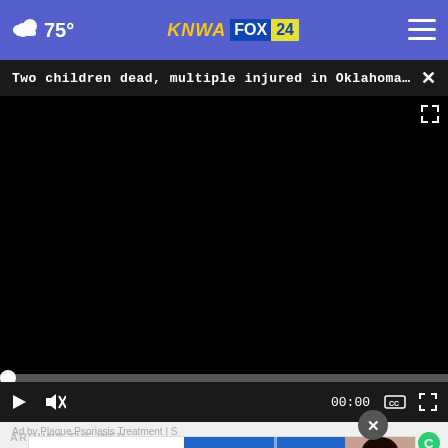75° KNWA FOX 24
Two children dead, multiple injured in Oklahoma c...
[Figure (screenshot): Black video player with progress bar and playback controls showing 00:00 timestamp]
Ad by Plaque Psoriasis Treatment | S
[Figure (photo): Solera Dental advertisement with logo, DENTAL text, LEARN MORE button, and woman's photo]